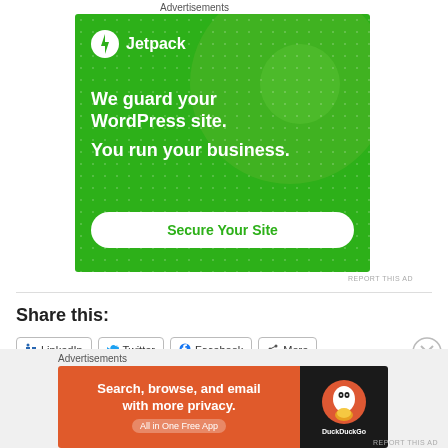Advertisements
[Figure (illustration): Jetpack advertisement banner with green background. Shows Jetpack logo (lightning bolt icon) and name at top, decorative circles and dots, text 'We guard your WordPress site. You run your business.' and a 'Secure Your Site' button.]
REPORT THIS AD
Share this:
LinkedIn  Twitter  Facebook  More
Advertisements
[Figure (illustration): DuckDuckGo advertisement. Orange left panel with text 'Search, browse, and email with more privacy.' and 'All in One Free App' button. Dark right panel with DuckDuckGo duck logo and 'DuckDuckGo' text.]
REPORT THIS AD